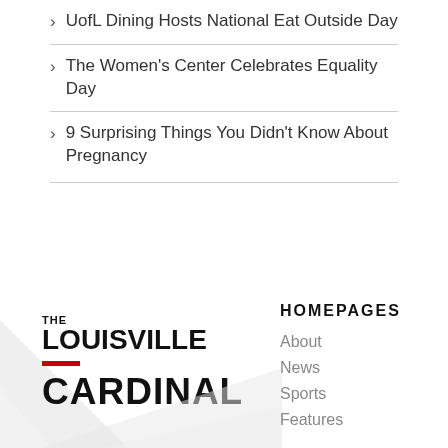UofL Dining Hosts National Eat Outside Day
The Women's Center Celebrates Equality Day
9 Surprising Things You Didn't Know About Pregnancy
[Figure (logo): The Louisville Cardinal logo with red bar accent]
HOMEPAGES
About
News
Sports
Features